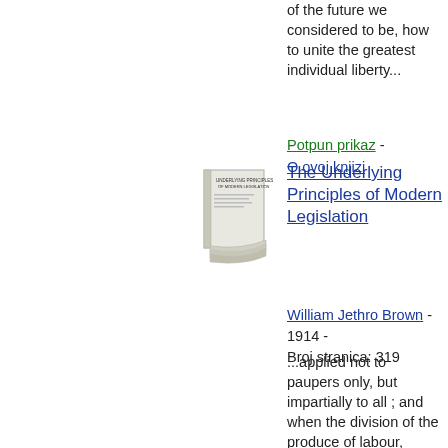of the future we considered to be, how to unite the greatest individual liberty...
Potpun prikaz - O ovoj knjizi
[Figure (illustration): Thumbnail image of book cover for 'The Underlying Principles of Modern Legislation']
The Underlying Principles of Modern Legislation
William Jethro Brown - 1914 - Broj stranica: 319
...applied not to paupers only, but impartially to all ; and when the division of the produce of labour, instead of depending, in so great a degree as it now, concert